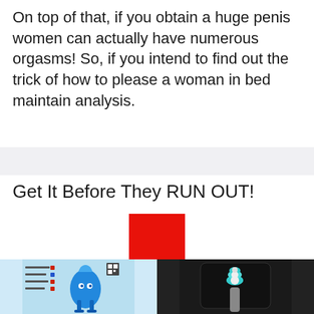On top of that, if you obtain a huge penis women can actually have numerous orgasms! So, if you intend to find out the trick of how to please a woman in bed maintain analysis.
Get It Before They RUN OUT!
[Figure (other): A large red downward-pointing arrow graphic used as a call-to-action indicator]
[Figure (photo): Product image showing two views of a blue medical/health device on a light blue background (left) and a dark background with teal-colored device components (right)]